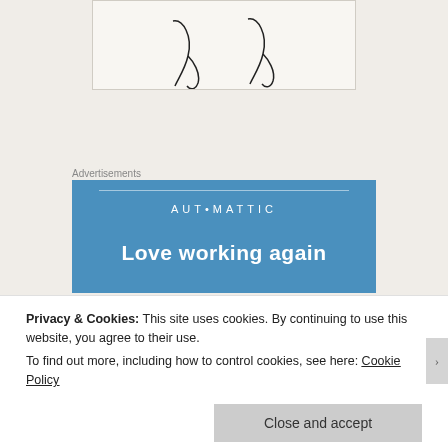[Figure (illustration): Partial view of a handwritten signature or cursive text on a light background, showing curved pen strokes]
Advertisements
[Figure (other): Automattic advertisement banner with blue background showing 'AUTOMATTIC' logo text and partial text 'Love working again']
Privacy & Cookies: This site uses cookies. By continuing to use this website, you agree to their use.
To find out more, including how to control cookies, see here: Cookie Policy
Close and accept